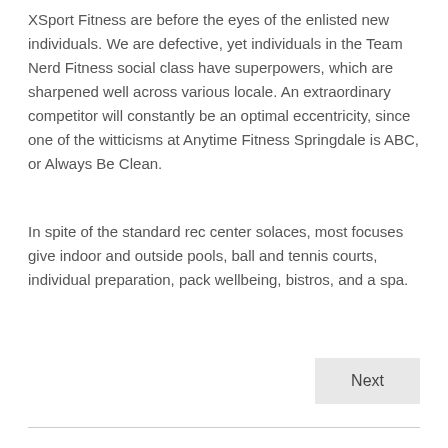XSport Fitness are before the eyes of the enlisted new individuals. We are defective, yet individuals in the Team Nerd Fitness social class have superpowers, which are sharpened well across various locale. An extraordinary competitor will constantly be an optimal eccentricity, since one of the witticisms at Anytime Fitness Springdale is ABC, or Always Be Clean.
In spite of the standard rec center solaces, most focuses give indoor and outside pools, ball and tennis courts, individual preparation, pack wellbeing, bistros, and a spa.